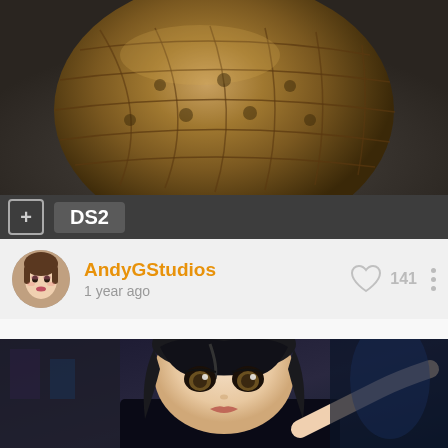[Figure (photo): Top portion of a 3D rendered bronze/gold grenade or ornamental metallic object on a dark background]
+ DS2
[Figure (photo): User avatar showing a female 3D character face with makeup]
AndyGStudios
1 year ago
141
[Figure (photo): 3D rendered anime-style female character with black hair and dark outfit, close-up portrait]